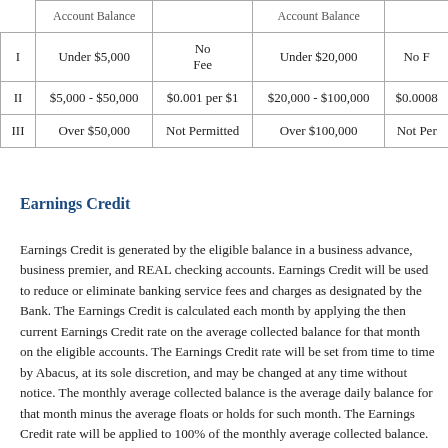|  | Account Balance | Fee | Account Balance | Fee |
| --- | --- | --- | --- | --- |
| I | Under $5,000 | No Fee | Under $20,000 | No F... |
| II | $5,000 - $50,000 | $0.001 per $1 | $20,000 - $100,000 | $0.0008... |
| III | Over $50,000 | Not Permitted | Over $100,000 | Not Per... |
Earnings Credit
Earnings Credit is generated by the eligible balance in a business advance, business premier, and REAL checking accounts. Earnings Credit will be used to reduce or eliminate banking service fees and charges as designated by the Bank. The Earnings Credit is calculated each month by applying the then current Earnings Credit rate on the average collected balance for that month on the eligible accounts. The Earnings Credit rate will be set from time to time by Abacus, at its sole discretion, and may be changed at any time without notice. The monthly average collected balance is the average daily balance for that month minus the average floats or holds for such month. The Earnings Credit rate will be applied to 100% of the monthly average collected balance. Earnings Credit is subject to...